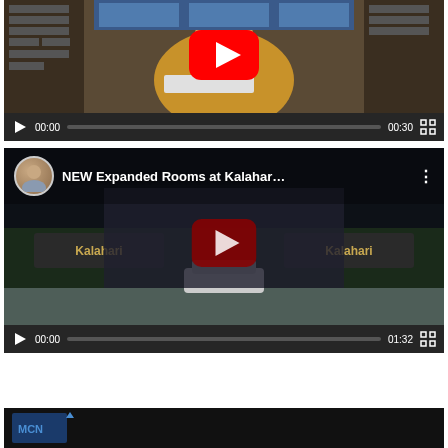[Figure (screenshot): YouTube video player showing a woman in a yellow top in what appears to be a retail store. Large red YouTube play button in center. Controls show 00:00 / 00:30.]
[Figure (screenshot): YouTube video titled 'NEW Expanded Rooms at Kalahar...' with avatar thumbnail. Dark nighttime exterior of Kalahari resort. Red play button in center. Controls show 00:00 / 01:32.]
[Figure (screenshot): Partial video thumbnail showing MCN logo/branding at bottom of page.]